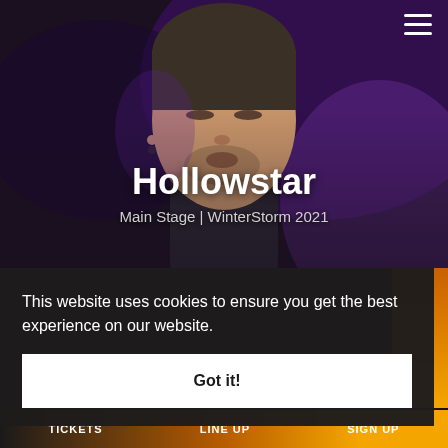[Figure (photo): A male performer on stage, eyes closed, dark background with purple/blue stage lighting. He appears to be at a music event.]
Hollowstar
Main Stage | WinterStorm 2021
This website uses cookies to ensure you get the best experience on our website.
Got it!
TICKETS   LINE UP   SIGN UP